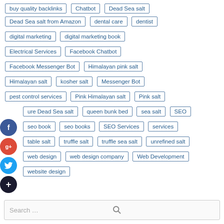buy quality backlinks
Chatbot
Dead Sea salt
Dead Sea salt from Amazon
dental care
dentist
digital marketing
digital marketing book
Electrical Services
Facebook Chatbot
Facebook Messenger Bot
Himalayan pink salt
Himalayan salt
kosher salt
Messenger Bot
pest control services
Pink Himalayan salt
Pink salt
ure Dead Sea salt
queen bunk bed
sea salt
SEO
seo book
seo books
SEO Services
services
table salt
truffle salt
truffle sea salt
unrefined salt
web design
web design company
Web Development
website design
Search ...